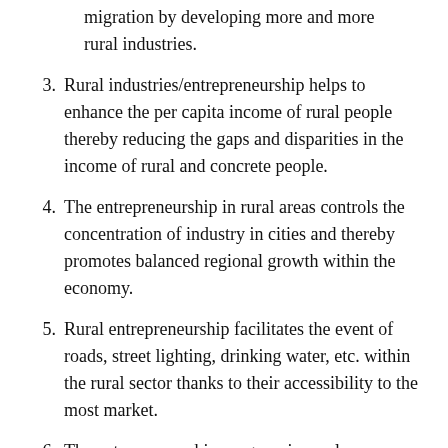migration by developing more and more rural industries.
3. Rural industries/entrepreneurship helps to enhance the per capita income of rural people thereby reducing the gaps and disparities in the income of rural and concrete people.
4. The entrepreneurship in rural areas controls the concentration of industry in cities and thereby promotes balanced regional growth within the economy.
5. Rural entrepreneurship facilitates the event of roads, street lighting, drinking water, etc. within the rural sector thanks to their accessibility to the most market.
6. The entrepreneurship program in rural areas can reduce poverty, the growth of slums, pollution in cities, and